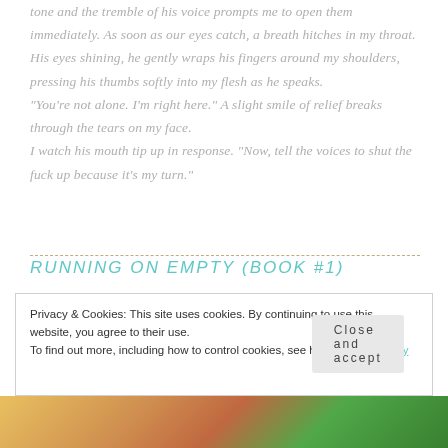tone and the tremble of his voice prompts me to open them immediately. As soon as our eyes catch, a breath hitches in my throat. His eyes shining, he gently wraps his fingers around my shoulders, pressing his thumbs softly into my flesh as he speaks.
"You're not alone. I'm right here." A slight smile of relief breaks through the tears on my face.
I watch his mouth tip up in response. "Now, tell the voices to shut the fuck up because it's my turn."
RUNNING ON EMPTY (BOOK #1)
Privacy & Cookies: This site uses cookies. By continuing to use this website, you agree to their use.
To find out more, including how to control cookies, see here: Cookie Policy
Close and accept
[Figure (photo): Partial photo strip visible at bottom of page showing orange, yellow, and green tones suggesting an outdoor nature scene]